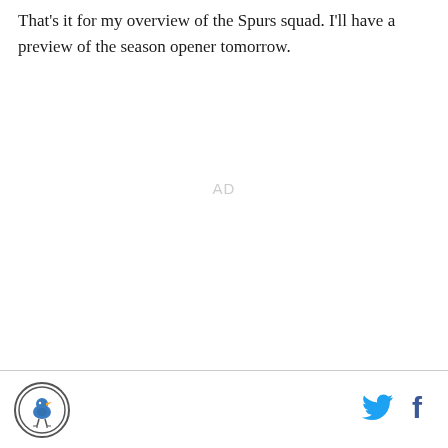That's it for my overview of the Spurs squad. I'll have a preview of the season opener tomorrow.
AD
[Figure (logo): SB Nation / Pounding the Rock circular logo with bird illustration]
[Figure (logo): Twitter bird icon in blue]
[Figure (logo): Facebook 'f' icon in dark blue]